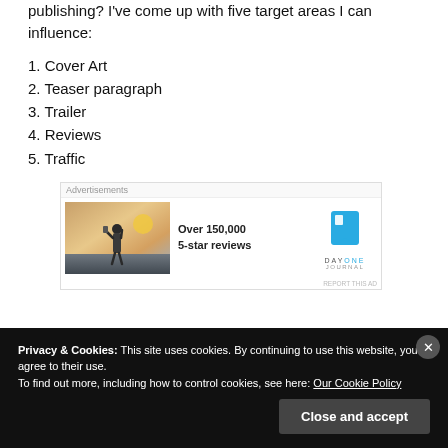publishing? I've come up with five target areas I can influence:
1. Cover Art
2. Teaser paragraph
3. Trailer
4. Reviews
5. Traffic
[Figure (other): Advertisement banner: Day One Journal app ad showing a person photographing a sunset with text 'Over 150,000 5-star reviews']
Privacy & Cookies: This site uses cookies. By continuing to use this website, you agree to their use. To find out more, including how to control cookies, see here: Our Cookie Policy